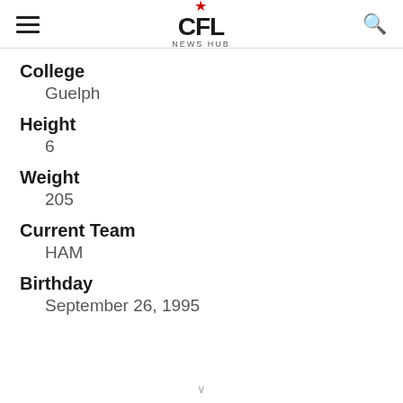CFL NEWS HUB
College
Guelph
Height
6
Weight
205
Current Team
HAM
Birthday
September 26, 1995